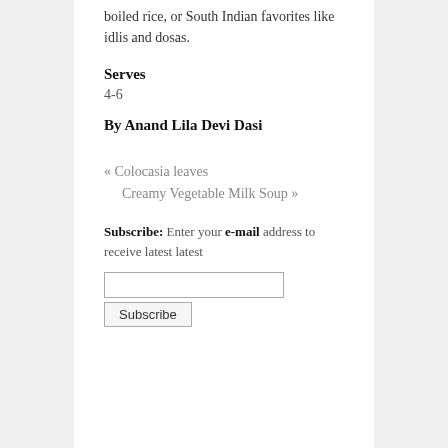boiled rice, or South Indian favorites like idlis and dosas.
Serves
4-6
By Anand Lila Devi Dasi
« Colocasia leaves
Creamy Vegetable Milk Soup »
Subscribe: Enter your e-mail address to receive latest latest